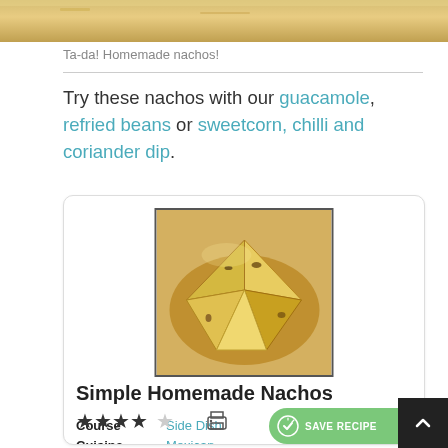[Figure (photo): Top strip of a wooden/food background image, cropped]
Ta-da! Homemade nachos!
Try these nachos with our guacamole, refried beans or sweetcorn, chilli and coriander dip.
[Figure (photo): Recipe card showing Simple Homemade Nachos with a photo of triangular nacho chips in a bowl, a Save Recipe button, star rating, print icon, Course: Side Dish, Cuisine: Mexican]